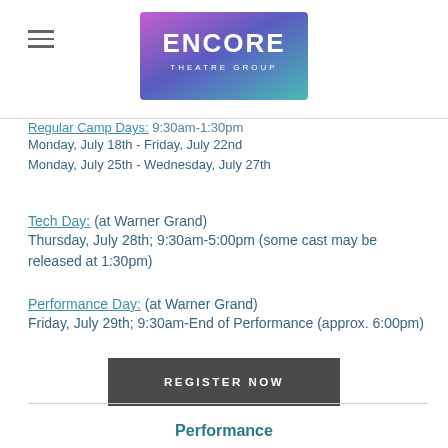Encore Theatre Group
Regular Camp Days: 9:30am-1:30pm
Monday, July 18th - Friday, July 22nd
Monday, July 25th - Wednesday, July 27th
Tech Day: (at Warner Grand)
Thursday, July 28th; 9:30am-5:00pm (some cast may be released at 1:30pm)
Performance Day: (at Warner Grand)
Friday, July 29th; 9:30am-End of Performance (approx. 6:00pm)
REGISTER NOW
Performance